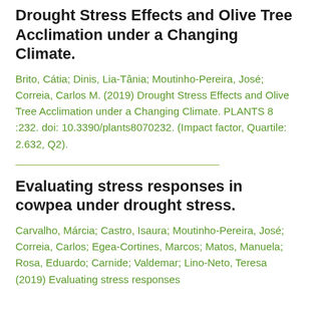Drought Stress Effects and Olive Tree Acclimation under a Changing Climate.
Brito, Cátia; Dinis, Lia-Tânia; Moutinho-Pereira, José; Correia, Carlos M. (2019) Drought Stress Effects and Olive Tree Acclimation under a Changing Climate. PLANTS 8 :232. doi: 10.3390/plants8070232. (Impact factor, Quartile: 2.632, Q2).
Evaluating stress responses in cowpea under drought stress.
Carvalho, Márcia; Castro, Isaura; Moutinho-Pereira, José; Correia, Carlos; Egea-Cortines, Marcos; Matos, Manuela; Rosa, Eduardo; Carnide; Valdemar; Lino-Neto, Teresa (2019) Evaluating stress responses